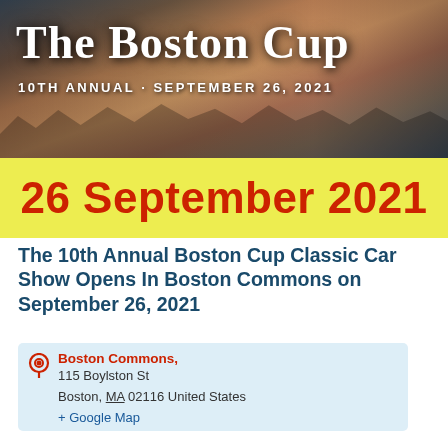[Figure (photo): Banner photo of a crowd of people at an event with text overlay showing 'The Boston Cup' and '10TH ANNUAL · SEPTEMBER 26, 2021']
26 September 2021
The 10th Annual Boston Cup Classic Car Show Opens In Boston Commons on September 26, 2021
Boston Commons,
115 Boylston St
Boston, MA 02116 United States
+ Google Map
The Boston Cup is now in its 10th year and considered to be in the top five Classic Car Shows in the country and is the only car show of [...]
Find out more »